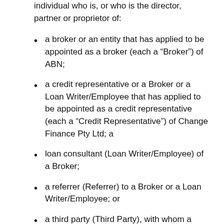individual who is, or who is the director, partner or proprietor of:
a broker or an entity that has applied to be appointed as a broker (each a “Broker”) of ABN;
a credit representative or a Broker or a Loan Writer/Employee that has applied to be appointed as a credit representative (each a “Credit Representative”) of Change Finance Pty Ltd; a
loan consultant (Loan Writer/Employee) of a Broker;
a referrer (Referrer) to a Broker or a Loan Writer/Employee; or
a third party (Third Party), with whom a Broker shares commissions, or if you give us